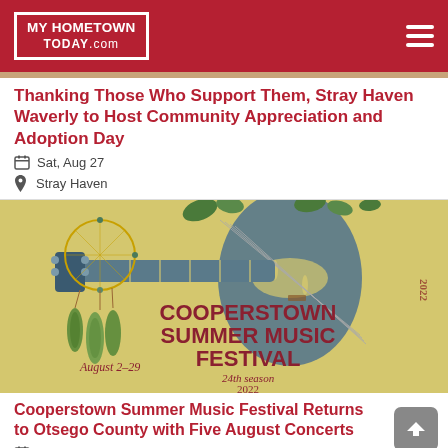MY HOMETOWN TODAY.com
Thanking Those Who Support Them, Stray Haven Waverly to Host Community Appreciation and Adoption Day
Sat, Aug 27
Stray Haven
[Figure (illustration): Cooperstown Summer Music Festival poster showing a violin/guitar hybrid instrument with dreamcatcher and foliage, yellow background. Text reads: COOPERSTOWN SUMMER MUSIC FESTIVAL, August 2-29, 24th season 2022]
Cooperstown Summer Music Festival Returns to Otsego County with Five August Concerts
Now - Mon, Aug 29
Otesaga Resort Hotel